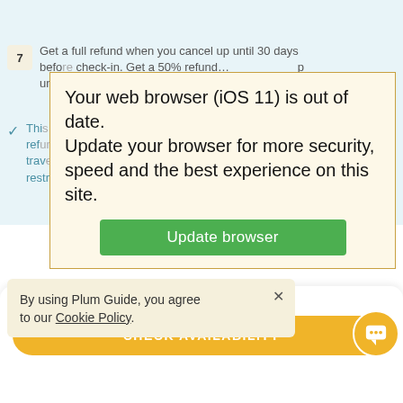30  Cancellation policy: Moderate
7  Get a full refund when you cancel up until 30 days before check-in. Get a 50% refund ... up until ...
This listing has a ... refund ... travel restrictions. Details here
[Figure (screenshot): Browser update warning popup with light yellow background and gold border reading: 'Your web browser (iOS 11) is out of date. Update your browser for more security, speed and the best experience on this site.' with a green 'Update browser' button]
By using Plum Guide, you agree to our Cookie Policy.
Children welcome (1-12 years)
Add dates & guests for price
CHECK AVAILABILITY